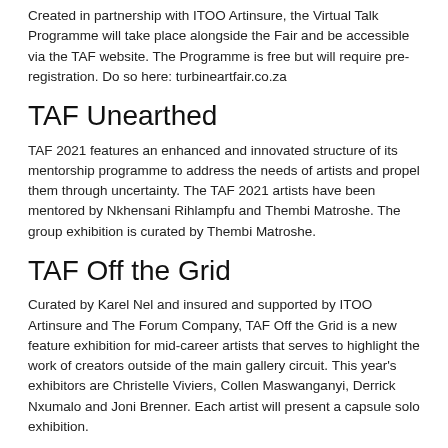Created in partnership with ITOO Artinsure, the Virtual Talk Programme will take place alongside the Fair and be accessible via the TAF website. The Programme is free but will require pre-registration. Do so here: turbineartfair.co.za
TAF Unearthed
TAF 2021 features an enhanced and innovated structure of its mentorship programme to address the needs of artists and propel them through uncertainty. The TAF 2021 artists have been mentored by Nkhensani Rihlampfu and Thembi Matroshe. The group exhibition is curated by Thembi Matroshe.
TAF Off the Grid
Curated by Karel Nel and insured and supported by ITOO Artinsure and The Forum Company, TAF Off the Grid is a new feature exhibition for mid-career artists that serves to highlight the work of creators outside of the main gallery circuit. This year's exhibitors are Christelle Viviers, Collen Maswanganyi, Derrick Nxumalo and Joni Brenner. Each artist will present a capsule solo exhibition.
Sublime: An Immersive Multimedia Experience